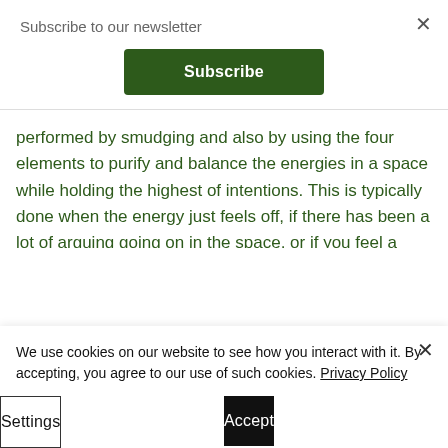Subscribe to our newsletter
Subscribe
performed by smudging and also by using the four elements to purify and balance the energies in a space while holding the highest of intentions. This is typically done when the energy just feels off, if there has been a lot of arguing going on in the space, or if you feel a spiritual disturbance. This is great to do
We use cookies on our website to see how you interact with it. By accepting, you agree to our use of such cookies. Privacy Policy
Settings
Accept